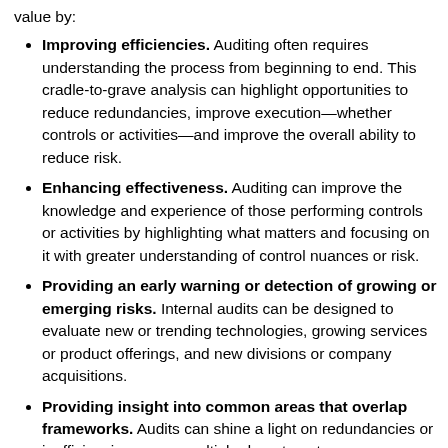value by:
Improving efficiencies. Auditing often requires understanding the process from beginning to end. This cradle-to-grave analysis can highlight opportunities to reduce redundancies, improve execution—whether controls or activities—and improve the overall ability to reduce risk.
Enhancing effectiveness. Auditing can improve the knowledge and experience of those performing controls or activities by highlighting what matters and focusing on it with greater understanding of control nuances or risk.
Providing an early warning or detection of growing or emerging risks. Internal audits can be designed to evaluate new or trending technologies, growing services or product offerings, and new divisions or company acquisitions.
Providing insight into common areas that overlap frameworks. Audits can shine a light on redundancies or inefficiencies across multiple departments.